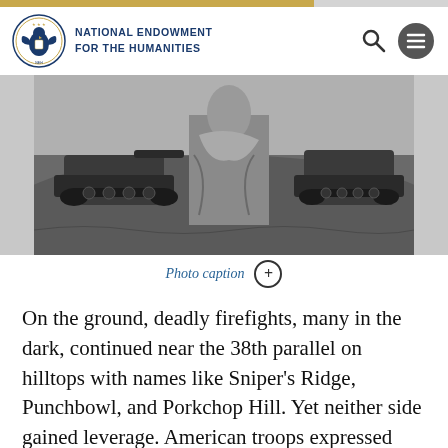NATIONAL ENDOWMENT FOR THE HUMANITIES
[Figure (photo): Black and white photograph showing a soldier or person in the foreground with a military tank visible in the background, set in a hilly or mountainous terrain. Korean War era image.]
Photo caption
On the ground, deadly firefights, many in the dark, continued near the 38th parallel on hilltops with names like Sniper’s Ridge, Punchbowl, and Porkchop Hill. Yet neither side gained leverage. American troops expressed frustration with the relentless battles, repeating the scornful saying